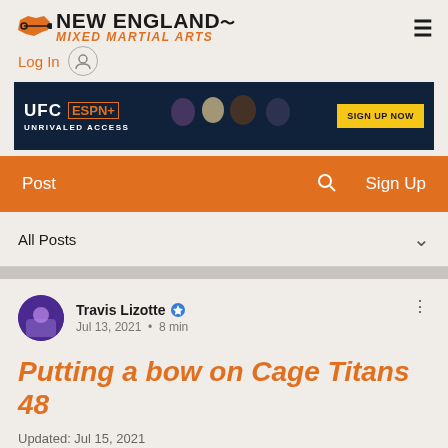New England Mixed Martial Arts
[Figure (screenshot): UFC ESPN+ ad banner with fighters and SIGN UP NOW button. Text: UFC ESPN+ UNRIVALED ACCESS SIGN UP NOW]
Post  [search icon]  Sign Up
All Posts
Travis Lizotte  Jul 13, 2021  •  8 min
Putting a bow on Cage Titans 48
Updated: Jul 15, 2021